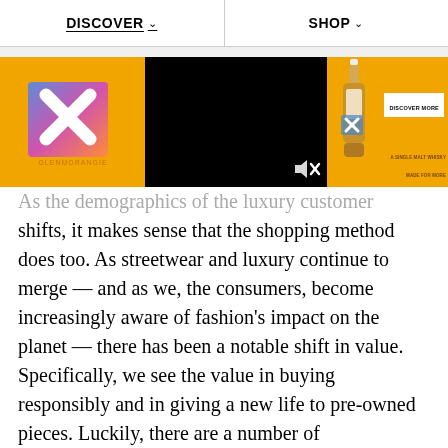DISCOVER   SHOP
[Figure (other): Glenmorangie advertisement banner with orange background, X logo on left, black video panel in center with speaker/mute icon, whisky bottle and DISCOVER MORE button on right]
As the demographics of the luxury customer shifts, it makes sense that the shopping method does too. As streetwear and luxury continue to merge — and as we, the consumers, become increasingly aware of fashion's impact on the planet — there has been a notable shift in value. Specifically, we see the value in buying responsibly and in giving a new life to pre-owned pieces. Luckily, there are a number of